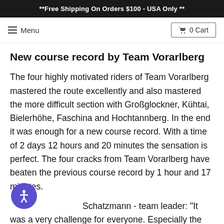**Free Shipping On Orders $100 - USA Only **
≡ Menu   🛒 0 Cart
New course record by Team Vorarlberg
The four highly motivated riders of Team Vorarlberg mastered the route excellently and also mastered the more difficult section with Großglockner, Kühtai, Bielerhöhe, Faschina and Hochtannberg. In the end it was enough for a new course record. With a time of 2 days 12 hours and 20 minutes the sensation is perfect. The four cracks from Team Vorarlberg have beaten the previous course record by 1 hour and 17 minutes.
Schatzmann - team leader: "It was a very challenge for everyone. Especially the logistics of such a race are enormous. It requires a